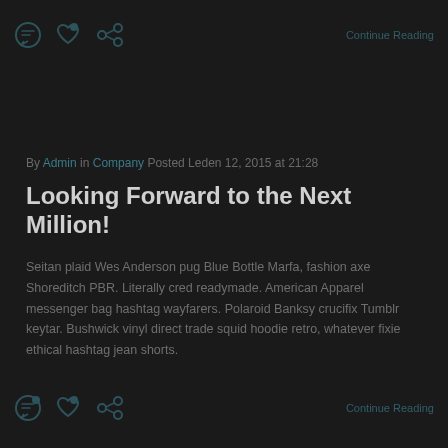Continue Reading
By Admin in Company Posted Leden 12, 2015 at 21:28
Looking Forward to the Next Million!
Seitan plaid Wes Anderson pug Blue Bottle Marfa, fashion axe Shoreditch PBR. Literally cred readymade. American Apparel messenger bag hashtag wayfarers. Polaroid Banksy crucifix Tumblr keytar. Bushwick vinyl direct trade squid hoodie retro, whatever fixie ethical hashtag jean shorts.
Continue Reading